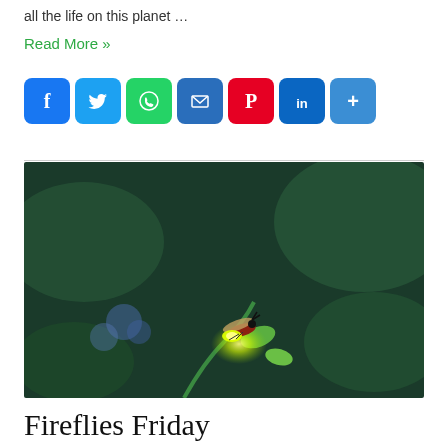all the life on this planet …
Read More »
[Figure (other): Row of social media sharing icons: Facebook (blue), Twitter (blue), WhatsApp (green), Email (blue), Pinterest (red), LinkedIn (blue), More/Plus (blue)]
[Figure (photo): Close-up photograph of a firefly perched on a small green leaf bud, glowing yellow-green from its abdomen. Background is dark bokeh green foliage with blurred blue flowers.]
Fireflies Friday